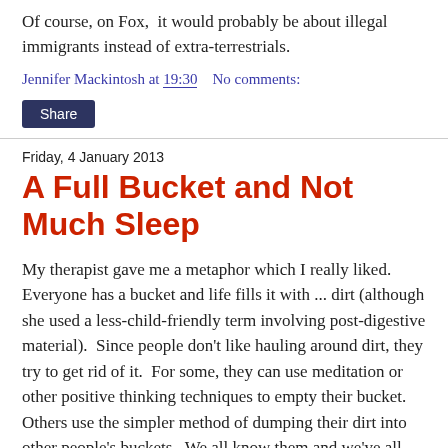Of course, on Fox,  it would probably be about illegal immigrants instead of extra-terrestrials.
Jennifer Mackintosh at 19:30    No comments:
Share
Friday, 4 January 2013
A Full Bucket and Not Much Sleep
My therapist gave me a metaphor which I really liked.  Everyone has a bucket and life fills it with ... dirt (although she used a less-child-friendly term involving post-digestive material).  Since people don't like hauling around dirt, they try to get rid of it.  For some, they can use meditation or other positive thinking techniques to empty their bucket.  Others use the simpler method of dumping their dirt into other people's buckets.  We all know them and we've all been the recipient of flying clods of ... dirt.
I have the particularly unfortunate combination of not being good